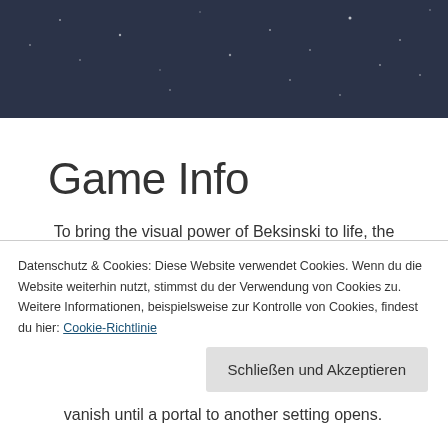[Figure (photo): Dark blue night sky header image with faint stars]
Game Info
To bring the visual power of Beksinski to life, the game features a virtual 3-dimensional world inspired by the artist's paintings, in which players can wander around and explore different aspects of
Datenschutz & Cookies: Diese Website verwendet Cookies. Wenn du die Website weiterhin nutzt, stimmst du der Verwendung von Cookies zu. Weitere Informationen, beispielsweise zur Kontrolle von Cookies, findest du hier: Cookie-Richtlinie
Schließen und Akzeptieren
vanish until a portal to another setting opens.